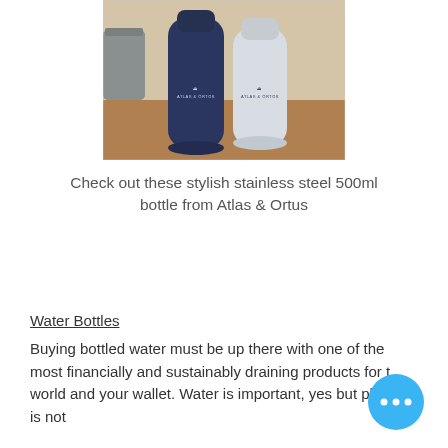[Figure (photo): Two stainless steel water bottles with dark navy and light grey colors, both branded with 'ATLAS & ORTOS' logo, placed on a wooden surface with a metal container partially visible in the background.]
Check out these stylish stainless steel 500ml bottle from Atlas & Ortus
Water Bottles
Buying bottled water must be up there with one of the most financially and sustainably draining products for the world and your wallet. Water is important, yes but plastic is not